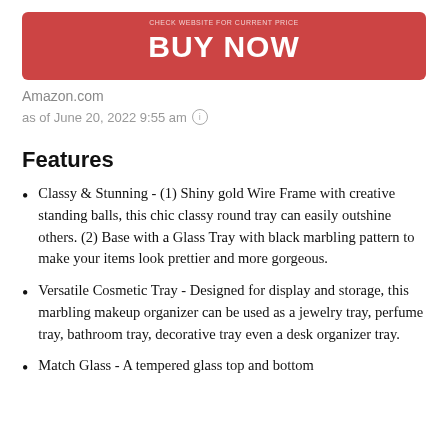[Figure (other): Red BUY NOW button with small text above reading 'CHECK WEBSITE FOR CURRENT PRICE']
Amazon.com
as of June 20, 2022 9:55 am ⓘ
Features
Classy & Stunning - (1) Shiny gold Wire Frame with creative standing balls, this chic classy round tray can easily outshine others. (2) Base with a Glass Tray with black marbling pattern to make your items look prettier and more gorgeous.
Versatile Cosmetic Tray - Designed for display and storage, this marbling makeup organizer can be used as a jewelry tray, perfume tray, bathroom tray, decorative tray even a desk organizer tray.
Match Glass - A tempered glass top and bottom...